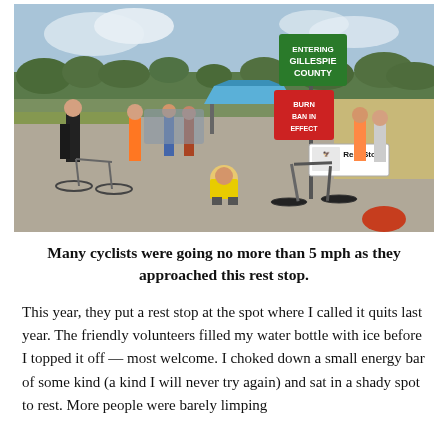[Figure (photo): Outdoor photo of cyclists at a rest stop near a road sign reading 'Entering Gillespie County' and a red 'Burn Ban In Effect' sign, and a 'Rest Stop' sign. Several cyclists and volunteers are present, with bicycles leaning against poles and on the ground. A man in a yellow shirt sits on the ground. Blue tent canopy visible in background, trees and fields in distance.]
Many cyclists were going no more than 5 mph as they approached this rest stop.
This year, they put a rest stop at the spot where I called it quits last year. The friendly volunteers filled my water bottle with ice before I topped it off — most welcome. I choked down a small energy bar of some kind (a kind I will never try again) and sat in a shady spot to rest. More people were barely limping